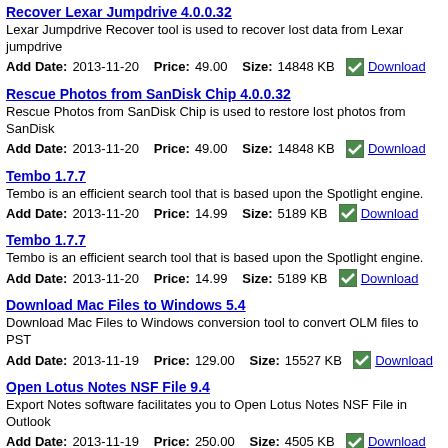Recover Lexar Jumpdrive 4.0.0.32
Lexar Jumpdrive Recover tool is used to recover lost data from Lexar jumpdrive
Add Date:2013-11-20   Price: 49.00   Size: 14848 KB   Download
Rescue Photos from SanDisk Chip 4.0.0.32
Rescue Photos from SanDisk Chip is used to restore lost photos from SanDisk
Add Date:2013-11-20   Price: 49.00   Size: 14848 KB   Download
Tembo 1.7.7
Tembo is an efficient search tool that is based upon the Spotlight engine.
Add Date:2013-11-20   Price: 14.99   Size: 5189 KB   Download
Tembo 1.7.7
Tembo is an efficient search tool that is based upon the Spotlight engine.
Add Date:2013-11-20   Price: 14.99   Size: 5189 KB   Download
Download Mac Files to Windows 5.4
Download Mac Files to Windows conversion tool to convert OLM files to PST
Add Date:2013-11-19   Price: 129.00   Size: 15527 KB   Download
Open Lotus Notes NSF File 9.4
Export Notes software facilitates you to Open Lotus Notes NSF File in Outlook
Add Date:2013-11-19   Price: 250.00   Size: 4505 KB   Download
From Outlook Express to Outlook 3.4
DBX converter Software to Convert data From Outlook Express to Outlook or EM
Add Date:2013-11-19   Price: 69.00   Size: 3871 KB   Download
Export Outlook Express Folder to Outlook 3.4
Export Outlook Express Folders to Outlook with Effectual DBX Converter Progra